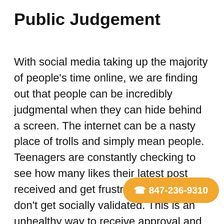Public Judgement
With social media taking up the majority of people’s time online, we are finding out that people can be incredibly judgmental when they can hide behind a screen. The internet can be a nasty place of trolls and simply mean people. Teenagers are constantly checking to see how many likes their latest post received and get frustrated when they don’t get socially validated. This is an unhealthy way to receive approval and more people should look to the ones around them for honest opinions. These are problems of the millennial finding out that the youth is su scrutiny online and increasing cases of
☎ 847-236-9310